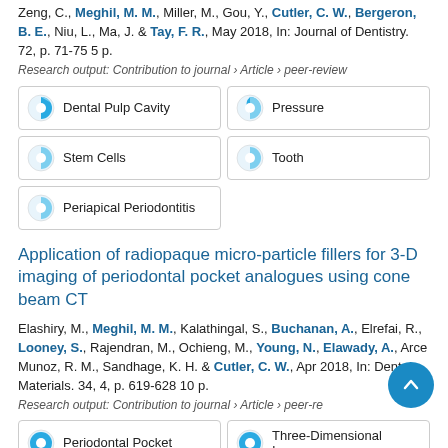Zeng, C., Meghil, M. M., Miller, M., Gou, Y., Cutler, C. W., Bergeron, B. E., Niu, L., Ma, J. & Tay, F. R., May 2018, In: Journal of Dentistry. 72, p. 71-75 5 p.
Research output: Contribution to journal › Article › peer-review
Dental Pulp Cavity
Pressure
Stem Cells
Tooth
Periapical Periodontitis
Application of radiopaque micro-particle fillers for 3-D imaging of periodontal pocket analogues using cone beam CT
Elashiry, M., Meghil, M. M., Kalathingal, S., Buchanan, A., Elrefai, R., Looney, S., Rajendran, M., Ochieng, M., Young, N., Elawady, A., Arce Munoz, R. M., Sandhage, K. H. & Cutler, C. W., Apr 2018, In: Dental Materials. 34, 4, p. 619-628 10 p.
Research output: Contribution to journal › Article › peer-review
Periodontal Pocket
Three-Dimensional Imaging